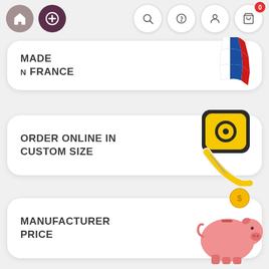[Figure (screenshot): Navigation bar with home icon, plus icon, search, help, user, and cart buttons]
[Figure (infographic): Card with 'MADE N FRANCE' text and French flag illustration]
[Figure (infographic): Card with 'ORDER ONLINE IN CUSTOM SIZE' text and tape measure illustration]
[Figure (infographic): Card with 'MANUFACTURER PRICE' text and piggy bank illustration]